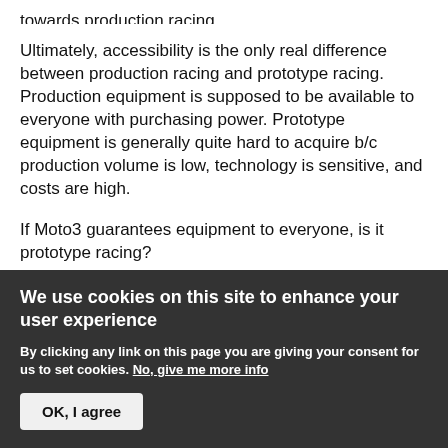towards production racing.
Ultimately, accessibility is the only real difference between production racing and prototype racing. Production equipment is supposed to be available to everyone with purchasing power. Prototype equipment is generally quite hard to acquire b/c production volume is low, technology is sensitive, and costs are high.
If Moto3 guarantees equipment to everyone, is it prototype racing?
The FIM are apparently allowing MotoGP and WSBK to differentiate according to the "street-legal" and "racing-
We use cookies on this site to enhance your user experience
By clicking any link on this page you are giving your consent for us to set cookies. No, give me more info
OK, I agree